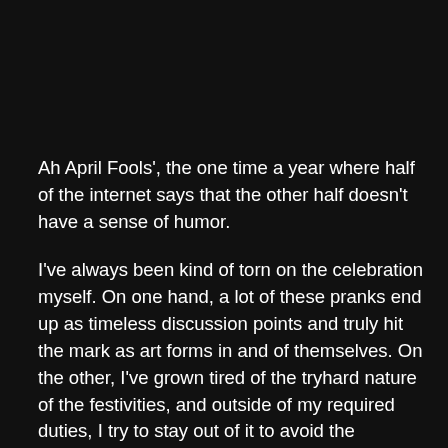Ah April Fools', the one time a year where half of the internet says that the other half doesn't have a sense of humor.
I've always been kind of torn on the celebration myself. On one hand, a lot of these pranks end up as timeless discussion points and truly hit the mark as art forms in and of themselves. On the other, I've grown tired of the tryhard nature of the festivities, and outside of my required duties, I try to stay out of it to avoid the whirlwind of what is